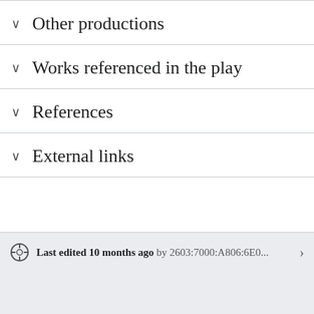Other productions
Works referenced in the play
References
External links
Last edited 10 months ago by 2603:7000:A806:6E0...